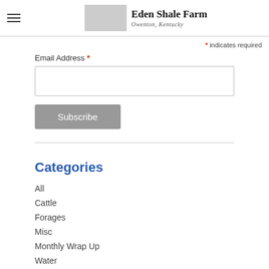Eden Shale Farm, Owenton, Kentucky
* indicates required
Email Address *
Subscribe
Categories
All
Cattle
Forages
Misc
Monthly Wrap Up
Water